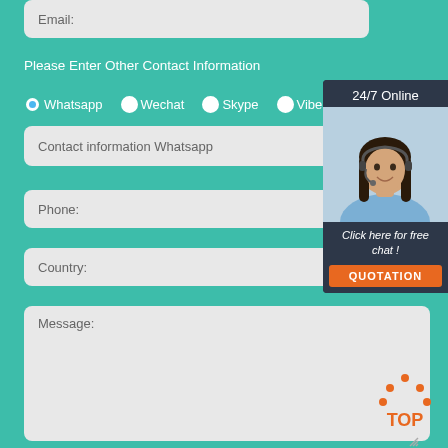Email:
Please Enter Other Contact Information
Whatsapp   Wechat   Skype   Viber
Contact information Whatsapp
Phone:
Country:
Message:
[Figure (screenshot): 24/7 Online chat widget with a customer service representative photo, 'Click here for free chat!' text, and an orange QUOTATION button]
[Figure (logo): Orange TOP button with dotted arrow pointing up]